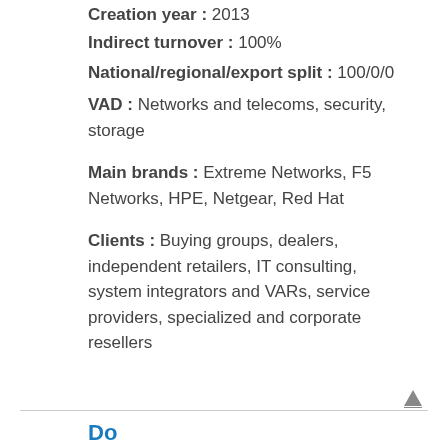Creation year : 2013
Indirect turnover : 100%
National/regional/export split : 100/0/0
VAD : Networks and telecoms, security, storage
Main brands : Extreme Networks, F5 Networks, HPE, Netgear, Red Hat
Clients : Buying groups, dealers, independent retailers, IT consulting, system integrators and VARs, service providers, specialized and corporate resellers
Document addition